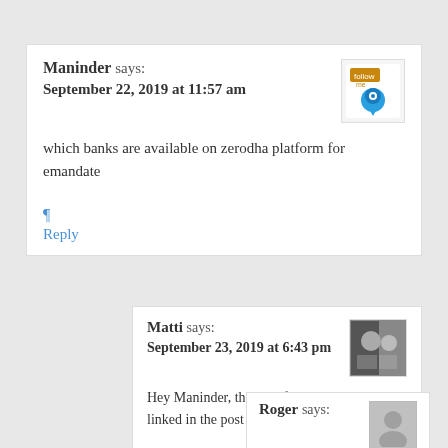Maninder says:
September 22, 2019 at 11:57 am
which banks are available on zerodha platform for emanate
¶
Reply
Matti says:
September 23, 2019 at 6:43 pm
Hey Maninder, the list of supported banks is linked in the post above.
¶
Reply
Roger says: